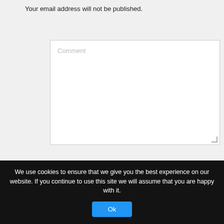Your email address will not be published.
Comment
Your name *
Your email *
We use cookies to ensure that we give you the best experience on our website. If you continue to use this site we will assume that you are happy with it.
Ok